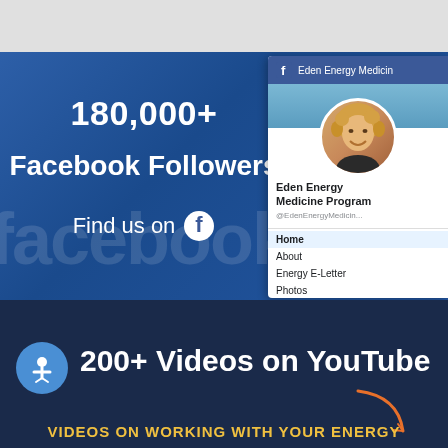[Figure (screenshot): Facebook section with blue background showing 180,000+ Facebook Followers stat and a Facebook page card on the right showing Eden Energy Medicine Program profile]
180,000+
Facebook Followers
Find us on
[Figure (screenshot): YouTube section with dark navy background, blue circle accessibility icon, showing 200+ Videos on YouTube and subtitle VIDEOS ON WORKING WITH YOUR ENERGY]